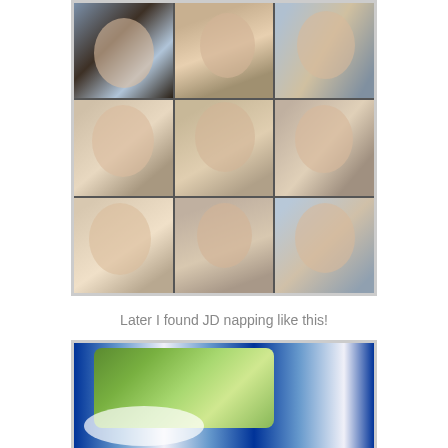[Figure (photo): 3x3 photo collage of a baby making various facial expressions, wearing a blue outfit, photographed from multiple angles]
Later I found JD napping like this!
[Figure (photo): Photo of baby JD napping in a crib with blue and white striped bumper, covered with a green blanket, with stuffed animal toys visible]